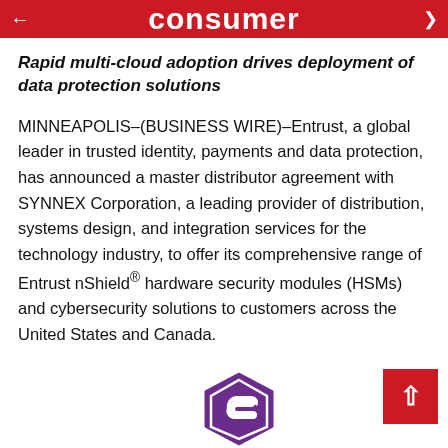consumer
Rapid multi-cloud adoption drives deployment of data protection solutions
MINNEAPOLIS–(BUSINESS WIRE)–Entrust, a global leader in trusted identity, payments and data protection, has announced a master distributor agreement with SYNNEX Corporation, a leading provider of distribution, systems design, and integration services for the technology industry, to offer its comprehensive range of Entrust nShield® hardware security modules (HSMs) and cybersecurity solutions to customers across the United States and Canada.
[Figure (logo): Entrust hexagonal logo in purple with stylized E inside, with ENTRUST text below]